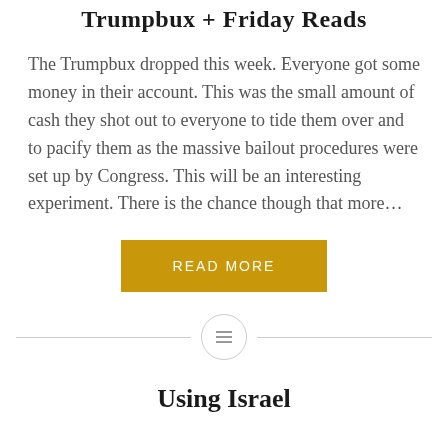Trumpbux + Friday Reads
The Trumpbux dropped this week. Everyone got some money in their account. This was the small amount of cash they shot out to everyone to tide them over and to pacify them as the massive bailout procedures were set up by Congress. This will be an interesting experiment. There is the chance though that more…
[Figure (other): Golden/yellow 'READ MORE' button]
[Figure (other): Horizontal divider with a circle icon containing three horizontal lines in the center]
Using Israel